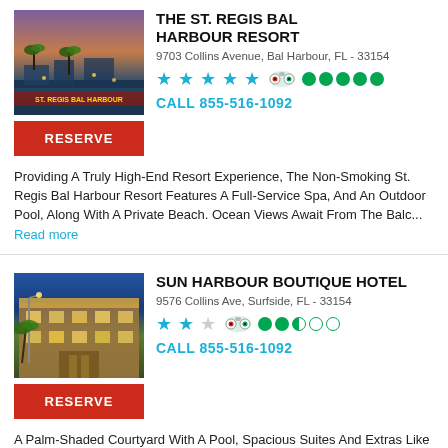[Figure (photo): The St. Regis Bal Harbour Resort exterior photo at dusk with purple sky and palm trees]
THE ST. REGIS BAL HARBOUR RESORT
9703 Collins Avenue, Bal Harbour, FL - 33154
5 stars, TripAdvisor 5 green circles
CALL 855-516-1092
Providing A Truly High-End Resort Experience, The Non-Smoking St. Regis Bal Harbour Resort Features A Full-Service Spa, And An Outdoor Pool, Along With A Private Beach. Ocean Views Await From The Balc...
Read more
[Figure (photo): Sun Harbour Boutique Hotel exterior at night with illuminated facade and palm trees]
SUN HARBOUR BOUTIQUE HOTEL
9576 Collins Ave, Surfside, FL - 33154
2.5 stars, TripAdvisor 3.5 green circles
CALL 855-516-1092
A Palm-Shaded Courtyard With A Pool, Spacious Suites And Extras Like Complimentary Wi-Fi And Covered Parking Are Part Of The